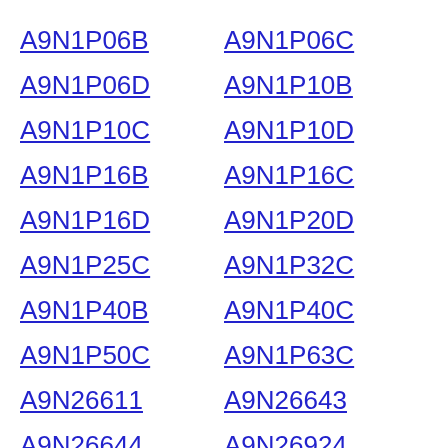A9N1P06B
A9N1P06C
A9N1P06D
A9N1P10B
A9N1P10C
A9N1P10D
A9N1P16B
A9N1P16C
A9N1P16D
A9N1P20D
A9N1P25C
A9N1P32C
A9N1P40B
A9N1P40C
A9N1P50C
A9N1P63C
A9N26611
A9N26643
A9N26644
A9N26924
A9N26927
A9N26946